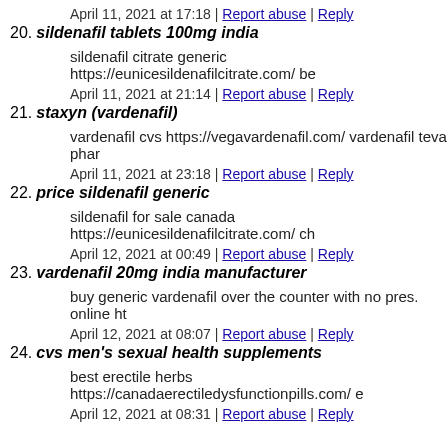April 11, 2021 at 17:18 | Report abuse | Reply
20. sildenafil tablets 100mg india
sildenafil citrate generic https://eunicesildenafilcitrate.com/ be
April 11, 2021 at 21:14 | Report abuse | Reply
21. staxyn (vardenafil)
vardenafil cvs https://vegavardenafil.com/ vardenafil teva phar
April 11, 2021 at 23:18 | Report abuse | Reply
22. price sildenafil generic
sildenafil for sale canada https://eunicesildenafilcitrate.com/ ch
April 12, 2021 at 00:49 | Report abuse | Reply
23. vardenafil 20mg india manufacturer
buy generic vardenafil over the counter with no pres. online ht
April 12, 2021 at 08:07 | Report abuse | Reply
24. cvs men's sexual health supplements
best erectile herbs https://canadaerectiledysfunctionpills.com/ e
April 12, 2021 at 08:31 | Report abuse | Reply